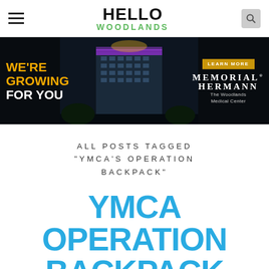HELLO WOODLANDS
[Figure (photo): Memorial Hermann The Woodlands Medical Center advertisement banner with text WE'RE GROWING FOR YOU on dark background with building photo at night]
ALL POSTS TAGGED "YMCA'S OPERATION BACKPACK"
YMCA OPERATION BACKPACK